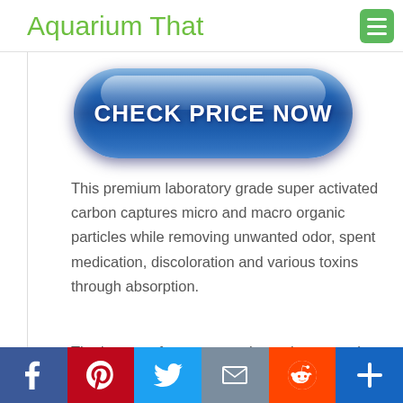Aquarium That
[Figure (other): Blue glossy rounded button with white bold text reading CHECK PRICE NOW]
This premium laboratory grade super activated carbon captures micro and macro organic particles while removing unwanted odor, spent medication, discoloration and various toxins through absorption.
The large surface area on the carbon granules promote colonization of beneficial bacteria and more area...
[Figure (other): Social sharing bar with Facebook, Pinterest, Twitter, Mail, Reddit, and Add buttons]